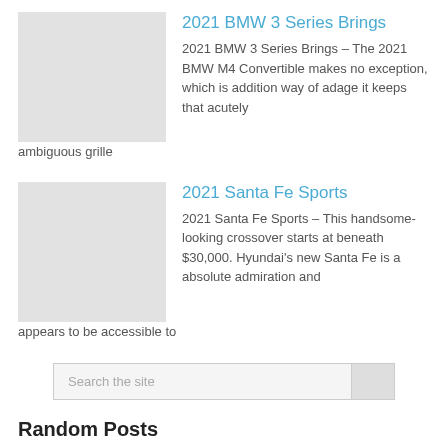2021 BMW 3 Series Brings
2021 BMW 3 Series Brings – The 2021 BMW M4 Convertible makes no exception, which is addition way of adage it keeps that acutely ambiguous grille
2021 Santa Fe Sports
2021 Santa Fe Sports – This handsome-looking crossover starts at beneath $30,000. Hyundai's new Santa Fe is a absolute admiration and appears to be accessible to
Search the site
Random Posts